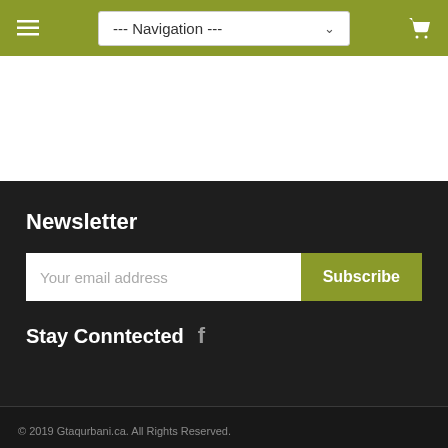Navigation (dropdown menu with hamburger and cart icons)
Newsletter
Your email address
Subscribe
Stay Conntected
© 2019 Gtaqurbani.ca. All Rights Reserved.